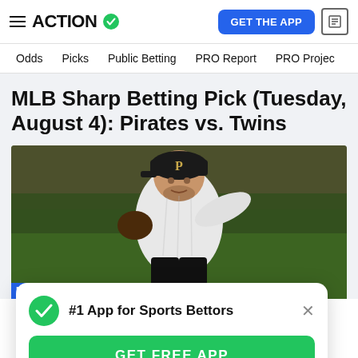ACTION — GET THE APP
Odds  Picks  Public Betting  PRO Report  PRO Project
MLB Sharp Betting Pick (Tuesday, August 4): Pirates vs. Twins
[Figure (photo): Pittsburgh Pirates pitcher in black cap with P logo, winding up to throw, outdoor baseball stadium background]
#1 App for Sports Bettors
GET FREE APP